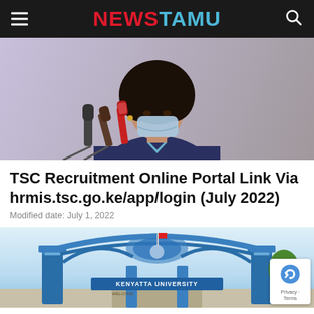NEWSTAMU
[Figure (photo): A woman wearing a face mask speaking at a press conference with multiple microphones in front of her, afro hairstyle, blue blazer]
TSC Recruitment Online Portal Link Via hrmis.tsc.go.ke/app/login (July 2022)
Modified date: July 1, 2022
[Figure (photo): Kenyatta University entrance gate, blue and white architectural structure with signage reading KENYATTA UNIVERSITY]